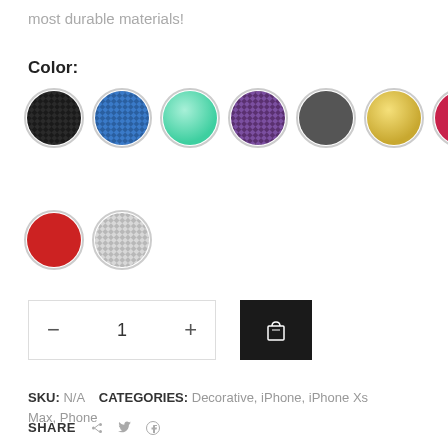most durable materials!
Color:
[Figure (other): Color swatches: black carbon fiber, blue carbon fiber, teal/mint, purple carbon fiber, dark gray, gold, red/pink, red carbon fiber, silver/gray carbon fiber]
[Figure (other): Quantity selector with minus, 1, plus buttons and a black cart/bag icon button]
SKU: N/A   CATEGORIES: Decorative, iPhone, iPhone Xs Max, Phone
SHARE